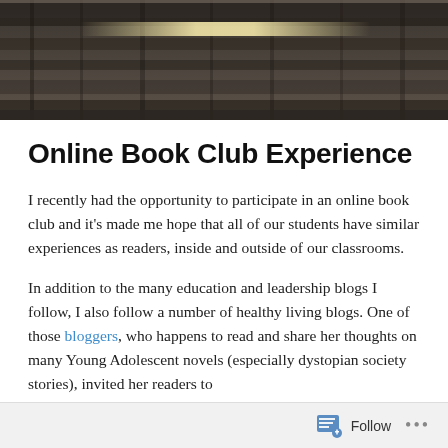[Figure (photo): Hero banner image showing a blurred indoor scene with bookshelves or library furniture, dark tones with a light reflection]
Online Book Club Experience
I recently had the opportunity to participate in an online book club and it's made me hope that all of our students have similar experiences as readers, inside and outside of our classrooms.
In addition to the many education and leadership blogs I follow, I also follow a number of healthy living blogs. One of those bloggers, who happens to read and share her thoughts on many Young Adolescent novels (especially dystopian society stories), invited her readers to
Follow ...